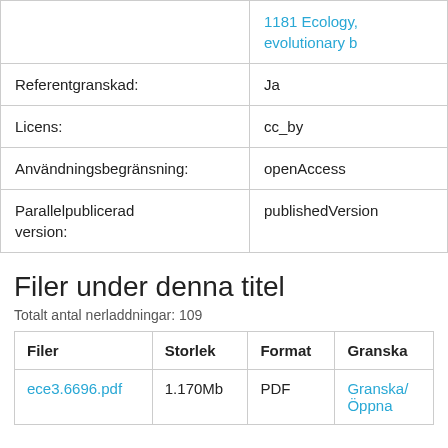|  |  |
| --- | --- |
|  | 1181 Ecology, evolutionary b… |
| Referentgranskad: | Ja |
| Licens: | cc_by |
| Användningsbegränsning: | openAccess |
| Parallelpublicerad version: | publishedVersion |
Filer under denna titel
Totalt antal nerladdningar: 109
| Filer | Storlek | Format | Granska |
| --- | --- | --- | --- |
| ece3.6696.pdf | 1.170Mb | PDF | Granska/ Öppna |